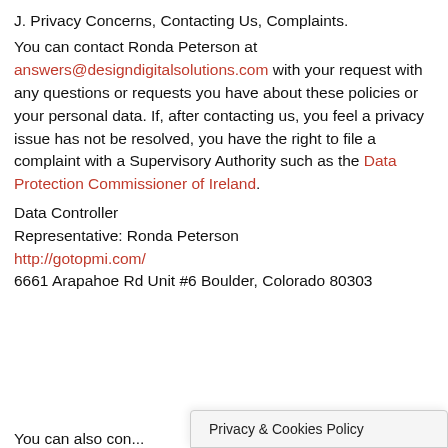J. Privacy Concerns, Contacting Us, Complaints.
You can contact Ronda Peterson at answers@designdigitalsolutions.com with your request with any questions or requests you have about these policies or your personal data. If, after contacting us, you feel a privacy issue has not be resolved, you have the right to file a complaint with a Supervisory Authority such as the Data Protection Commissioner of Ireland.
Data Controller
Representative: Ronda Peterson
http://gotopmi.com/
6661 Arapahoe Rd Unit #6 Boulder, Colorado 80303
You can also con...
Privacy & Cookies Policy